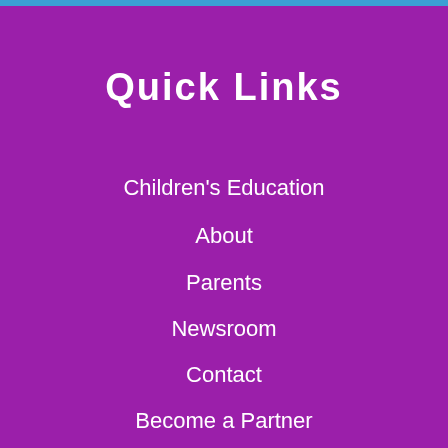Quick Links
Children's Education
About
Parents
Newsroom
Contact
Become a Partner
Sitemap